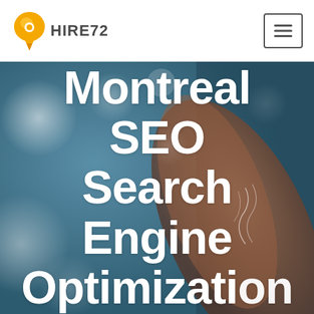[Figure (logo): Hire72 logo with orange speech bubble / location pin icon and text HIRE72]
[Figure (photo): Close-up of a hand with bokeh blurred teal/blue background with white light spots, person pressing a key or surface]
Montreal SEO Search Engine Optimization